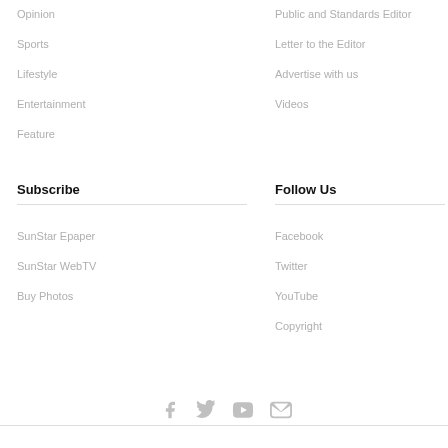Opinion
Public and Standards Editor
Sports
Letter to the Editor
Lifestyle
Advertise with us
Entertainment
Videos
Feature
Subscribe
Follow Us
SunStar Epaper
Facebook
SunStar WebTV
Twitter
Buy Photos
YouTube
Copyright
[Figure (other): Social media icons row: Facebook, Twitter, YouTube, Email/envelope icons in light gray]